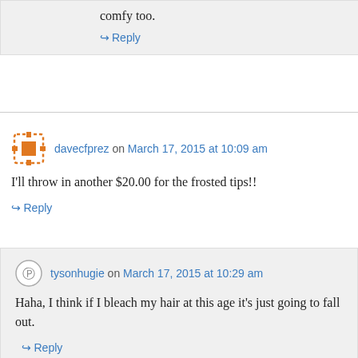comfy too.
↪ Reply
davecfprez on March 17, 2015 at 10:09 am
I'll throw in another $20.00 for the frosted tips!!
↪ Reply
tysonhugie on March 17, 2015 at 10:29 am
Haha, I think if I bleach my hair at this age it's just going to fall out.
↪ Reply